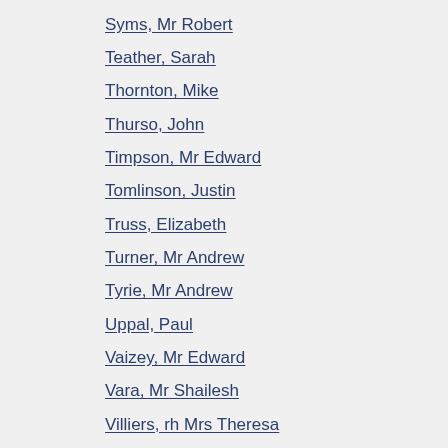Syms, Mr Robert
Teather, Sarah
Thornton, Mike
Thurso, John
Timpson, Mr Edward
Tomlinson, Justin
Truss, Elizabeth
Turner, Mr Andrew
Tyrie, Mr Andrew
Uppal, Paul
Vaizey, Mr Edward
Vara, Mr Shailesh
Villiers, rh Mrs Theresa
Walker, Mr Charles
Wallace, Mr Ben
Ward, Mr David
Watkinson, Dame Angela